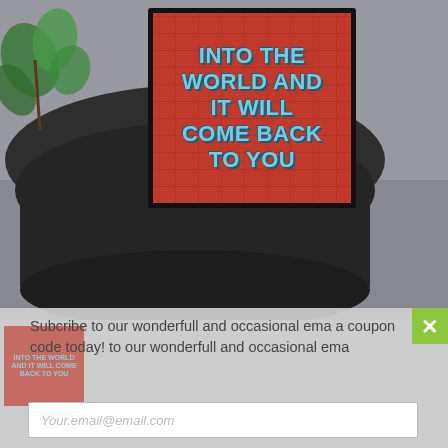[Figure (photo): Photo of a framed motivational sign on a round black table. The sign has a red brick-textured background with blue stylized text reading 'INTO THE WORLD AND IT WILL COME BACK TO YOU'. A green plant is visible in the top-left corner.]
Subcribe to our wonderfull and occasional ema a coupon code today! to our wonderfull and occasional ema